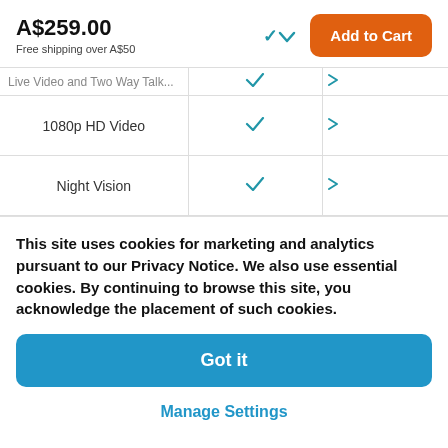A$259.00
Free shipping over A$50
| Feature | Col1 | Col2 |
| --- | --- | --- |
| Live Video and Two Way Talk | ✓ | ✓ |
| 1080p HD Video | ✓ | ✓ |
| Night Vision | ✓ | ✓ |
This site uses cookies for marketing and analytics pursuant to our Privacy Notice. We also use essential cookies. By continuing to browse this site, you acknowledge the placement of such cookies.
Got it
Manage Settings